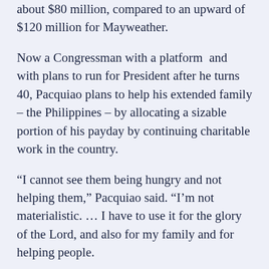about $80 million, compared to an upward of $120 million for Mayweather.
Now a Congressman with a platform and with plans to run for President after he turns 40, Pacquiao plans to help his extended family – the Philippines – by allocating a sizable portion of his payday by continuing charitable work in the country.
“I cannot see them being hungry and not helping them,” Pacquiao said. “I’m not materialistic. … I have to use it for the glory of the Lord, and also for my family and for helping people.
“Boxing is still my passion. I do it to please the fans, to give them excitement in return for their support.”